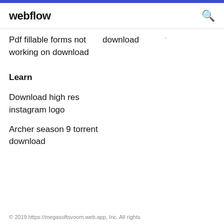webflow
Pdf fillable forms not      download
working on download
Learn
Download high res instagram logo
Archer season 9 torrent download
© 2019 https://megasoftsvoom.web.app, Inc. All rights